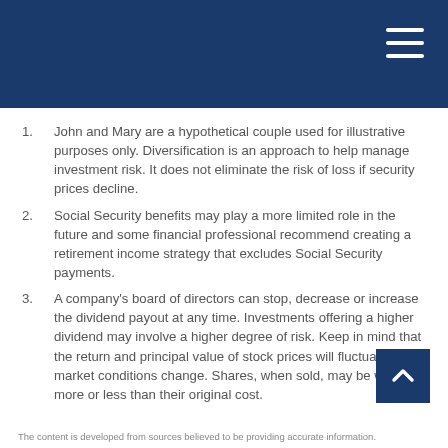John and Mary are a hypothetical couple used for illustrative purposes only. Diversification is an approach to help manage investment risk. It does not eliminate the risk of loss if security prices decline.
Social Security benefits may play a more limited role in the future and some financial professional recommend creating a retirement income strategy that excludes Social Security payments.
A company's board of directors can stop, decrease or increase the dividend payout at any time. Investments offering a higher dividend may involve a higher degree of risk. Keep in mind that the return and principal value of stock prices will fluctuate as market conditions change. Shares, when sold, may be worth more or less than their original cost.
The content is developed from sources believed to be providing accurate information.